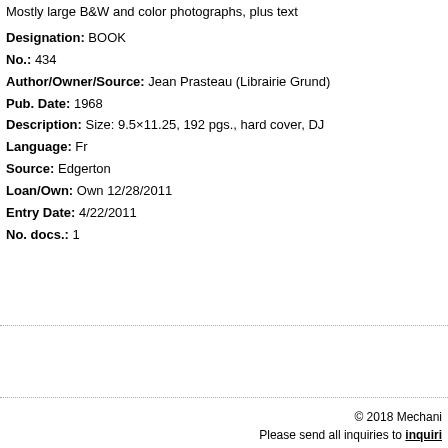Mostly large B&W and color photographs, plus text
Designation: BOOK
No.: 434
Author/Owner/Source: Jean Prasteau (Librairie Grund)
Pub. Date: 1968
Description: Size: 9.5×11.25, 192 pgs., hard cover, DJ
Language: Fr
Source: Edgerton
Loan/Own: Own 12/28/2011
Entry Date: 4/22/2011
No. docs.: 1
© 2018 Mechani… Please send all inquiries to inquiri…